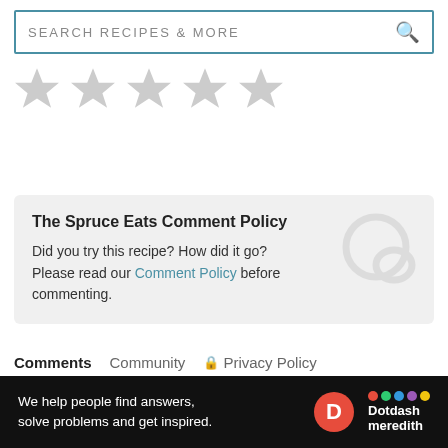SEARCH RECIPES & MORE
[Figure (illustration): Five light gray star rating icons in a row]
The Spruce Eats Comment Policy
Did you try this recipe? How did it go?
Please read our Comment Policy before commenting.
Comments   Community   Privacy Policy
Login
Favorite 5   Sort by Best
Ad
We help people find answers, solve problems and get inspired.   Dotdash meredith